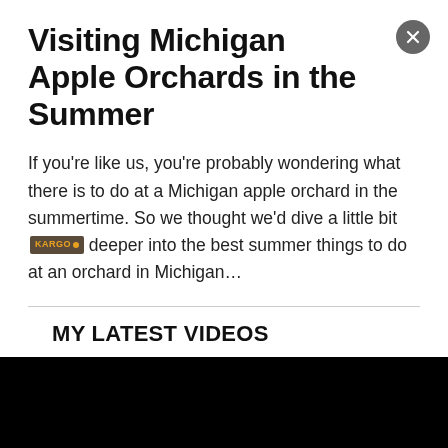Visiting Michigan Apple Orchards in the Summer
If you’re like us, you’re probably wondering what there is to do at a Michigan apple orchard in the summertime. So we thought we’d dive a little bit deeper into the best summer things to do at an orchard in Michigan…
MY LATEST VIDEOS
[Figure (screenshot): Video player with black background showing playback controls: rewind 10 seconds, play, and skip to next buttons in white.]